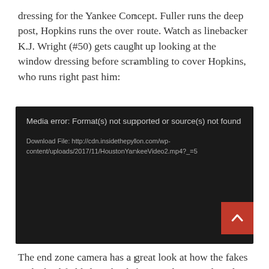dressing for the Yankee Concept. Fuller runs the deep post, Hopkins runs the over route. Watch as linebacker K.J. Wright (#50) gets caught up looking at the window dressing before scrambling to cover Hopkins, who runs right past him:
[Figure (screenshot): Black media player box showing error message: 'Media error: Format(s) not supported or source(s) not found' with download link 'Download File: http://cdn.insidethepylon.com/wp-content/uploads/2017/11/HoustonYankeeVideo2.mp4?_=5'. Red scroll-to-top button in bottom right corner.]
The end zone camera has a great look at how the fakes in the backfield slow the defense at the second- and third-